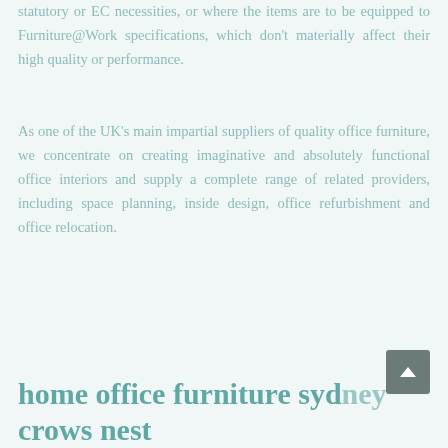statutory or EC necessities, or where the items are to be equipped to Furniture@Work specifications, which don't materially affect their high quality or performance.
As one of the UK's main impartial suppliers of quality office furniture, we concentrate on creating imaginative and absolutely functional office interiors and supply a complete range of related providers, including space planning, inside design, office refurbishment and office relocation.
home office furniture sydney crows nest